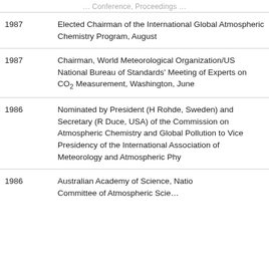1987 — Elected Chairman of the International Global Atmospheric Chemistry Program, August
1987 — Chairman, World Meteorological Organization/US National Bureau of Standards' Meeting of Experts on CO2 Measurement, Washington, June
1986 — Nominated by President (H Rohde, Sweden) and Secretary (R Duce, USA) of the Commission on Atmospheric Chemistry and Global Pollution to Vice Presidency of the International Association of Meteorology and Atmospheric Phy...
1986 — Australian Academy of Science, National Committee of Atmospheric Science...